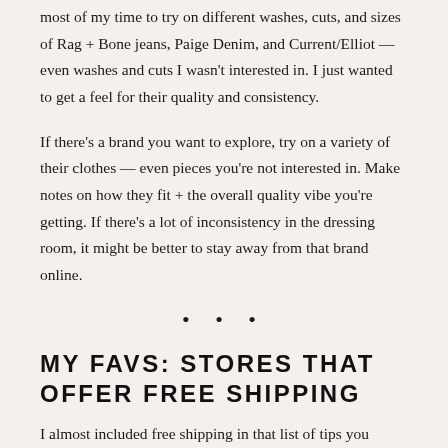most of my time to try on different washes, cuts, and sizes of Rag + Bone jeans, Paige Denim, and Current/Elliot — even washes and cuts I wasn't interested in. I just wanted to get a feel for their quality and consistency.
If there's a brand you want to explore, try on a variety of their clothes — even pieces you're not interested in. Make notes on how they fit + the overall quality vibe you're getting. If there's a lot of inconsistency in the dressing room, it might be better to stay away from that brand online.
• • •
MY FAVS: STORES THAT OFFER FREE SHIPPING
I almost included free shipping in that list of tips you